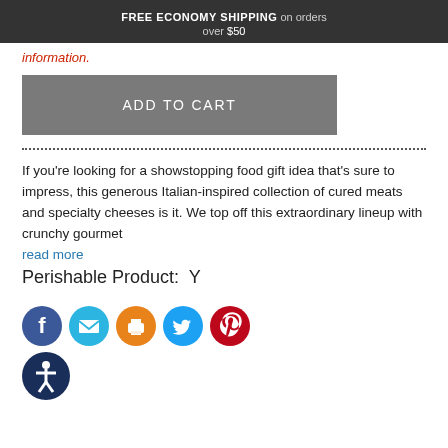FREE ECONOMY SHIPPING on orders over $50
information.
ADD TO CART
If you're looking for a showstopping food gift idea that's sure to impress, this generous Italian-inspired collection of cured meats and specialty cheeses is it. We top off this extraordinary lineup with crunchy gourmet
read more
Perishable Product:  Y
[Figure (other): Social sharing icons: Facebook (blue), Email (light blue), Print (orange), Twitter (blue), Pinterest (red), and an accessibility icon (dark blue circle with person figure)]